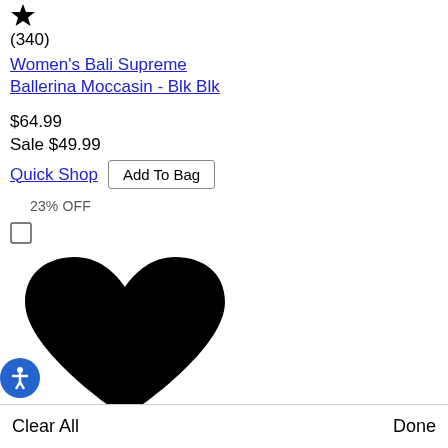[Figure (illustration): Black filled star icon (rating star)]
(340)
Women's Bali Supreme Ballerina Moccasin - Blk Blk
$64.99
Sale $49.99
Quick Shop  Add To Bag
23% OFF
[Figure (illustration): Small empty checkbox square]
[Figure (illustration): Large black filled heart/wishlist icon]
[Figure (illustration): Blue circle accessibility icon with person symbol]
Clear All   Done